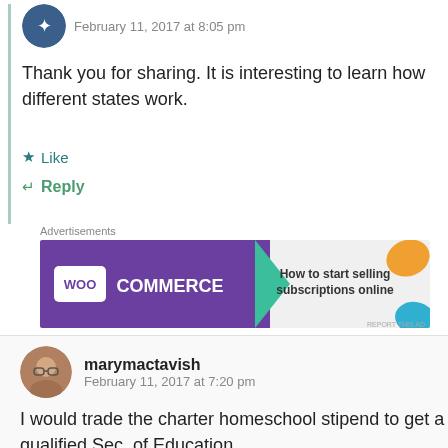February 11, 2017 at 8:05 pm
Thank you for sharing. It is interesting to learn how different states work.
Like
Reply
[Figure (screenshot): WooCommerce advertisement banner: purple background with WooCommerce logo, green arrow, text 'How to start selling subscriptions online', orange and blue decorative shapes]
marymactavish
February 11, 2017 at 7:20 pm
I would trade the charter homeschool stipend to get a qualified Sec. of Education.